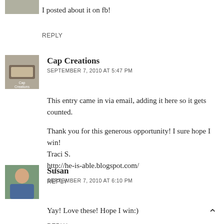I posted about it on fb!
REPLY
Cap Creations
SEPTEMBER 7, 2010 AT 5:47 PM
This entry came in via email, adding it here so it gets counted.
Thank you for this generous opportunity! I sure hope I win!
Traci S.
http://he-is-able.blogspot.com/
REPLY
Susan
SEPTEMBER 7, 2010 AT 6:10 PM
Yay! Love these! Hope I win:)
REPLY